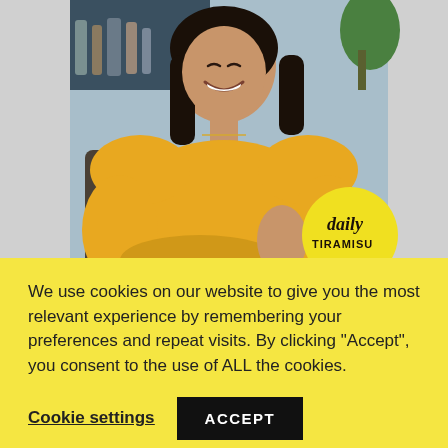[Figure (photo): A woman wearing a yellow/mustard sweater, smiling, sitting in a chair. She has dark hair and a necklace. In the bottom right corner is a yellow circular logo reading 'daily TIRAMISU'. The background shows shelves with bottles and a plant.]
We use cookies on our website to give you the most relevant experience by remembering your preferences and repeat visits. By clicking “Accept”, you consent to the use of ALL the cookies.
Cookie settings
ACCEPT